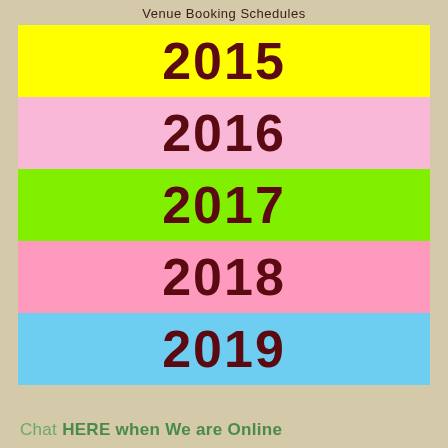Venue Booking Schedules
2015
2016
2017
2018
2019
Chat HERE when We are Online